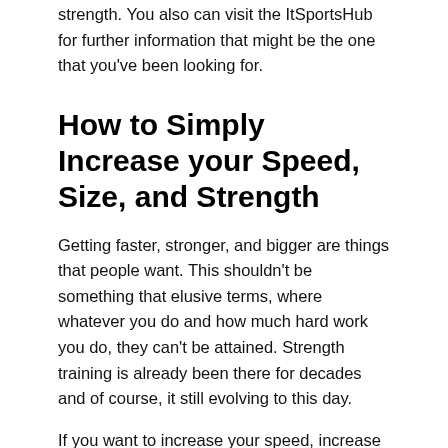strength. You also can visit the ItSportsHub for further information that might be the one that you've been looking for.
How to Simply Increase your Speed, Size, and Strength
Getting faster, stronger, and bigger are things that people want. This shouldn't be something that elusive terms, where whatever you do and how much hard work you do, they can't be attained. Strength training is already been there for decades and of course, it still evolving to this day.
If you want to increase your speed, increase your size and also strengthen yourself, you might love to learn about a few tips that we will go to show you in the ItSportsHub.